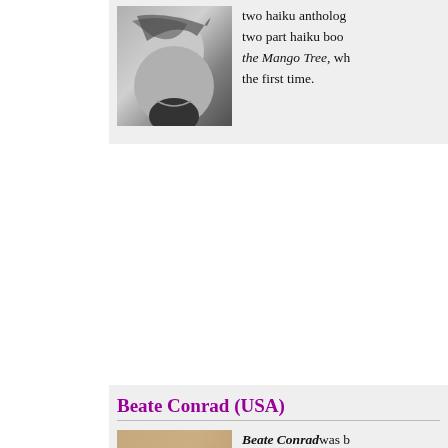[Figure (photo): Black and white portrait photo of a woman, hair blowing across face]
two haiku antholog… two part haiku boo… the Mango Tree, wh… the first time.
Beate Conrad (USA)
[Figure (photo): Color portrait photo of Beate Conrad, woman with long curly brown hair, head tilted]
Beate Conrad was b… has lived and worke… music and painting… Her works and essa… e-zines. Her haiku a… honorable mentions… Chrysanthemum. H… film and music are